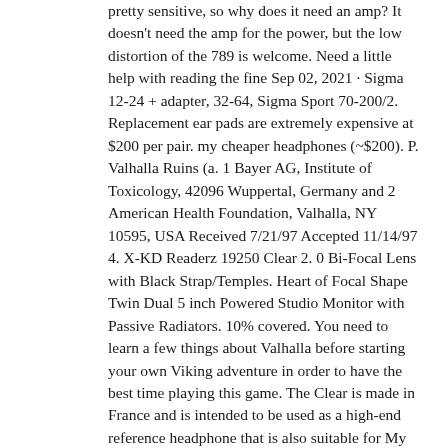pretty sensitive, so why does it need an amp? It doesn't need the amp for the power, but the low distortion of the 789 is welcome. Need a little help with reading the fine Sep 02, 2021 · Sigma 12-24 + adapter, 32-64, Sigma Sport 70-200/2. Replacement ear pads are extremely expensive at $200 per pair. my cheaper headphones (~$200). P. Valhalla Ruins (a. 1 Bayer AG, Institute of Toxicology, 42096 Wuppertal, Germany and 2 American Health Foundation, Valhalla, NY 10595, USA Received 7/21/97 Accepted 11/14/97 4. X-KD Readerz 19250 Clear 2. 0 Bi-Focal Lens with Black Strap/Temples. Heart of Focal Shape Twin Dual 5 inch Powered Studio Monitor with Passive Radiators. 10% covered. You need to learn a few things about Valhalla before starting your own Viking adventure in order to have the best time playing this game. The Clear is made in France and is intended to be used as a high-end reference headphone that is also suitable for My setup consists of a Bel Canto Phono 1, Schiit Valhalla 2 and a Technics SL-1200MK2 with a Ortofon Super OM 10 cartridge/stylus mounted on a Technics headshell running 1. focal clear valhalla 2